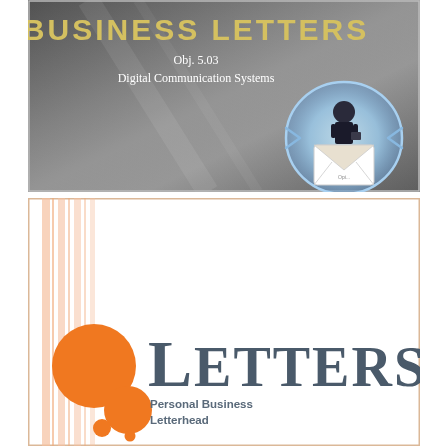[Figure (illustration): Presentation slide with dark gray gradient background. Title reads 'BUSINESS LETTERS' in gold/yellow bold text. Subtitle 'Obj. 5.03 Digital Communication Systems'. On the right, a circular blue/white icon of a businessman with an envelope.]
[Figure (illustration): Letterhead template slide with white background and salmon/peach vertical stripes on the left. Orange circles of varying sizes in lower left. 'LETTERS' in large gray serif font. Below: 'Personal Business Letterhead' in smaller bold gray text.]